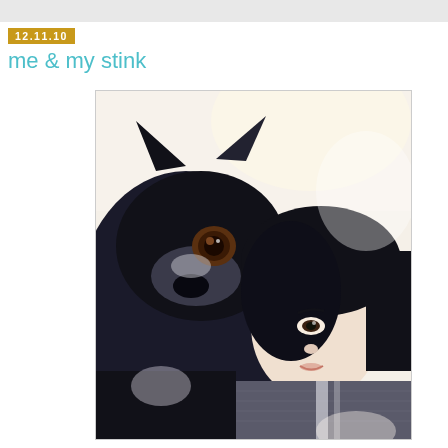12.11.10
me & my stink
[Figure (photo): A photo of a woman with short dark hair and a dark-colored dog (Boston Terrier type). The dog is in the foreground/left, face close to camera showing one brown eye. The woman is on the right, smiling slightly, wearing a grey knit sweater/scarf. High-contrast, slightly washed-out color photo with bright white background.]